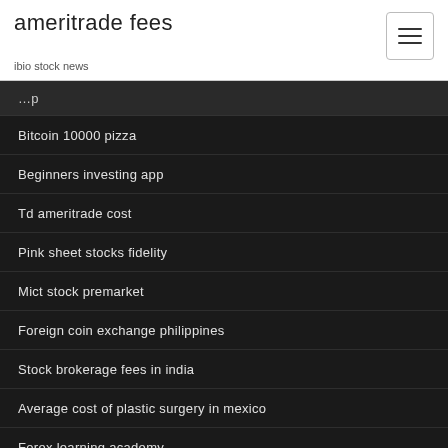ameritrade fees
ibio stock news
Bitcoin 10000 pizza
Beginners investing app
Td ameritrade cost
Pink sheet stocks fidelity
Mict stock premarket
Foreign coin exchange philippines
Stock brokerage fees in india
Average cost of plastic surgery in mexico
Forex learning academy
Td ameritrade money market interest